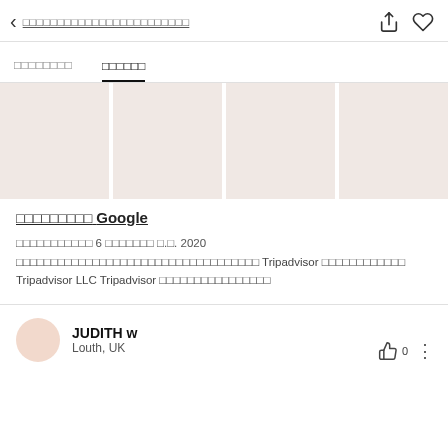< □□□□□□□□□□□□□□□□□□□□□□□
□□□□□□□□    □□□□□□
[Figure (photo): Four placeholder image thumbnails in a horizontal strip with pinkish-beige background color]
□□□□□□□□□ Google
□□□□□□□□□□□ 6 □□□□□□□ □.□. 2020
□□□□□□□□□□□□□□□□□□□□□□□□□□□□□□□□□□□ Tripadvisor □□□□□□□□□□□□ Tripadvisor LLC Tripadvisor □□□□□□□□□□□□□□□□
JUDITH w
Louth, UK